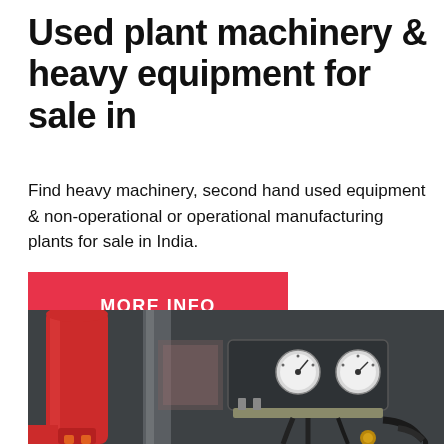Used plant machinery & heavy equipment for sale in
Find heavy machinery, second hand used equipment & non-operational or operational manufacturing plants for sale in India.
MORE INFO
[Figure (photo): Close-up photograph of industrial heavy equipment showing a red cylindrical component (filter or canister), pressure gauges mounted on a panel, hydraulic hoses and brass fittings on a dark grey metal machine body.]